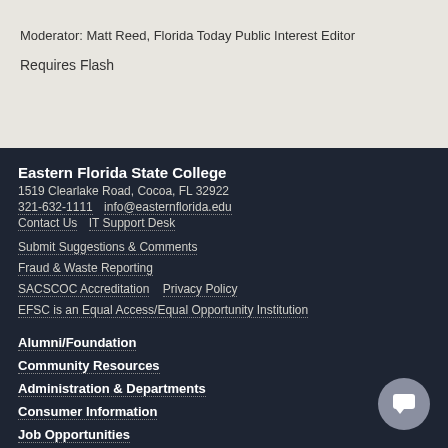Moderator: Matt Reed, Florida Today Public Interest Editor
Requires Flash
Eastern Florida State College
1519 Clearlake Road, Cocoa, FL 32922
321-632-1111   info@easternflorida.edu
Contact Us    IT Support Desk
Submit Suggestions & Comments
Fraud & Waste Reporting
SACSCOC Accreditation    Privacy Policy
EFSC is an Equal Access/Equal Opportunity Institution
Alumni/Foundation
Community Resources
Administration & Departments
Consumer Information
Job Opportunities
News & Events
Site Index